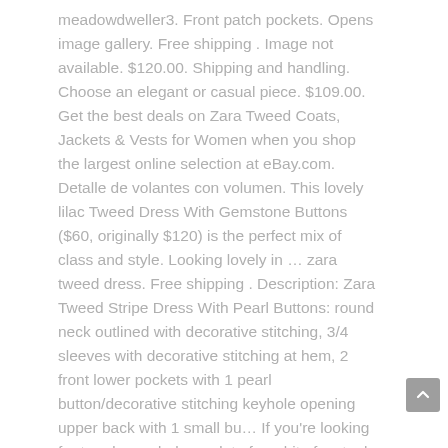meadowdweller3. Front patch pockets. Opens image gallery. Free shipping . Image not available. $120.00. Shipping and handling. Choose an elegant or casual piece. $109.00. Get the best deals on Zara Tweed Coats, Jackets & Vests for Women when you shop the largest online selection at eBay.com. Detalle de volantes con volumen. This lovely lilac Tweed Dress With Gemstone Buttons ($60, originally $120) is the perfect mix of class and style. Looking lovely in … zara tweed dress. Free shipping . Description: Zara Tweed Stripe Dress With Pearl Buttons: round neck outlined with decorative stitching, 3/4 sleeves with decorative stitching at hem, 2 front lower pockets with 1 pearl button/decorative stitching keyhole opening upper back with 1 small bu… If you're looking for trendy wardrobe update for a bit of a steal, then look no further! Tweed Dress With Gem Buttons + Dress with a straight-cut neckline and wide straps. Lined . Free shipping . Explore. Dresses by Fabric. Zara Black/ White Tweed Dress Gem Buttons Bardot Frayed Hem BNWT Size XS. Oct 30, 2019 - Shop Women's Zara size S Midi at a discounted price at